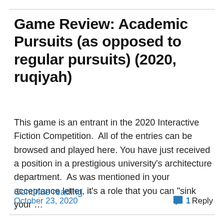Game Review: Academic Pursuits (as opposed to regular pursuits) (2020, ruqiyah)
This game is an entrant in the 2020 Interactive Fiction Competition.  All of the entries can be browsed and played here. You have just received a position in a prestigious university's architecture department.  As was mentioned in your acceptance letter, it's a role that you can "sink your …
Continue reading →
October 23, 2020    1 Reply